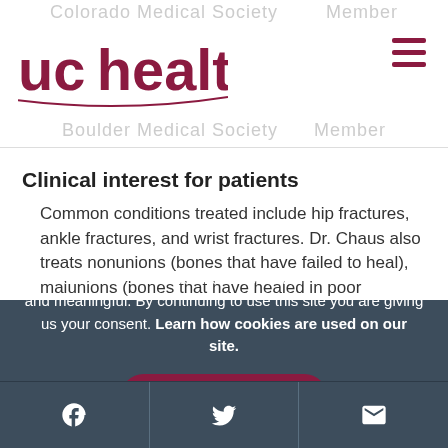Colorado Medical Society Member / Boulder Medical Society Member
[Figure (logo): UCHealth logo in crimson/maroon color with stylized text]
Clinical interest for patients
Common conditions treated include hip fractures, ankle fractures, and wrist fractures. Dr. Chaus also treats nonunions (bones that have failed to heal), malunions (bones that have healed in poor alignment), and periprosthetic fractures.
We use cookies to make interactions with our website easy and meaningful. By continuing to use this site you are giving us your consent. Learn how cookies are used on our site.
Accept terms
Facebook | Twitter | Email